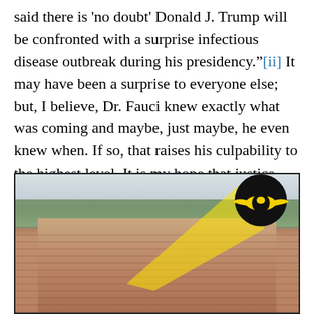said there is 'no doubt' Donald J. Trump will be confronted with a surprise infectious disease outbreak during his presidency."[ii] It may have been a surprise to everyone else; but, I believe, Dr. Fauci knew exactly what was coming and maybe, just maybe, he even knew when. If so, that raises his culpability to the highest level. It is my hope that justice will prevail, if that is truly the case.
[Figure (photo): Aerial photograph of a large government or institutional building complex with a Batman-signal style spotlight beam projected onto the building, with the Batman logo (black bat symbol on yellow background) shown at the top right where the spotlight originates.]